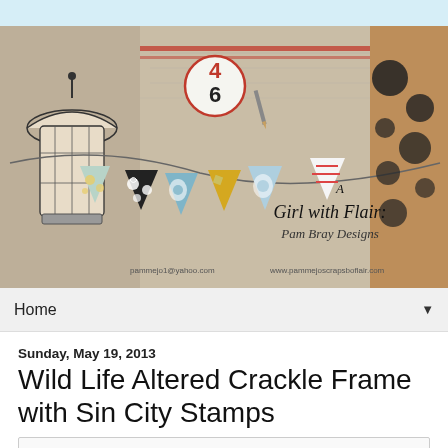[Figure (illustration): Blog banner image for 'A Girl with Flair: Pam Bray Designs' featuring decorative pennant bunting flags in various patterns (floral, polka dot, geometric), a vintage lantern illustration, a circular number tag '46', and text reading 'A Girl with Flair: Pam Bray Designs' with emails pammejo1@yahoo.com and www.pammejoscrapsboflair.com]
Home ▼
Sunday, May 19, 2013
Wild Life Altered Crackle Frame with Sin City Stamps